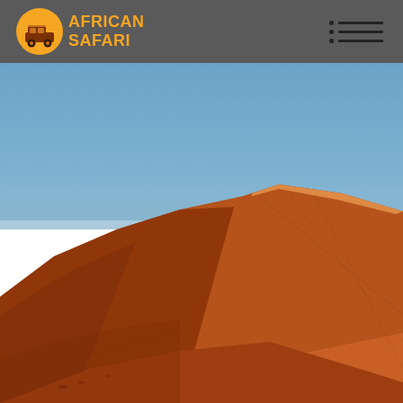African Safari
[Figure (photo): Close-up photograph of a large orange-red sand dune against a clear blue sky, showing the texture and ripples of the desert sand. The dune rises dramatically from the lower left to a sharp ridge line across the center of the image.]